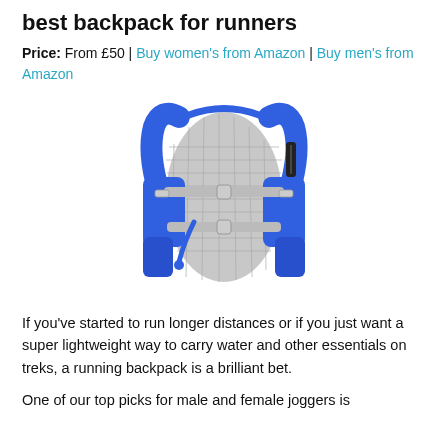best backpack for runners
Price: From £50 | Buy women's from Amazon | Buy men's from Amazon
[Figure (photo): A blue and grey running hydration vest/backpack with mesh back panel, multiple front pockets, and adjustment straps, shown front view against white background.]
If you've started to run longer distances or if you just want a super lightweight way to carry water and other essentials on treks, a running backpack is a brilliant bet.
One of our top picks for male and female joggers is